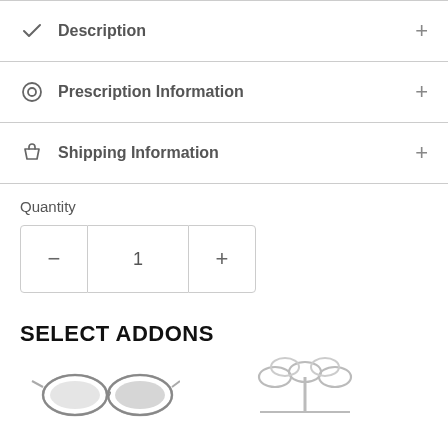Description
Prescription Information
Shipping Information
Quantity
1
SELECT ADDONS
[Figure (photo): Two product images showing sunglasses and a jewelry/ring holder at the bottom of the page]